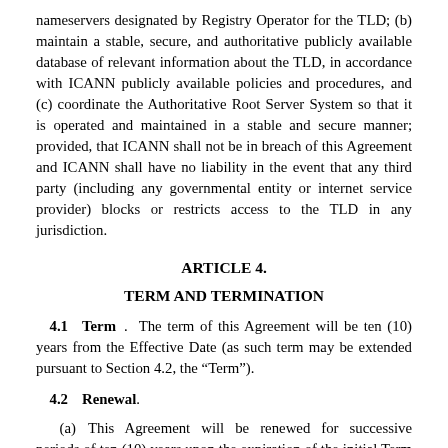nameservers designated by Registry Operator for the TLD; (b) maintain a stable, secure, and authoritative publicly available database of relevant information about the TLD, in accordance with ICANN publicly available policies and procedures, and (c) coordinate the Authoritative Root Server System so that it is operated and maintained in a stable and secure manner; provided, that ICANN shall not be in breach of this Agreement and ICANN shall have no liability in the event that any third party (including any governmental entity or internet service provider) blocks or restricts access to the TLD in any jurisdiction.
ARTICLE 4.
TERM AND TERMINATION
4.1  Term. The term of this Agreement will be ten (10) years from the Effective Date (as such term may be extended pursuant to Section 4.2, the “Term”).
4.2  Renewal.
(a) This Agreement will be renewed for successive periods of ten (10) years upon the expiration of the initial Term set forth in Section 4.1 and each successive Term, unless: